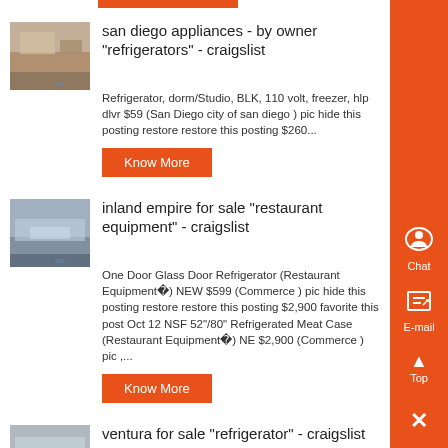[Figure (screenshot): Orange top bar button above first listing]
san diego appliances - by owner "refrigerators" - craigslist
Refrigerator, dorm/Studio, BLK, 110 volt, freezer, hlp dlvr $59 (San Diego city of san diego ) pic hide this posting restore restore this posting $260...
[Figure (photo): Thumbnail image of sandy/dusty outdoor scene]
Know More
[Figure (photo): Thumbnail image of coastal/water scene]
inland empire for sale "restaurant equipment" - craigslist
One Door Glass Door Refrigerator (Restaurant Equipment ) NEW $599 (Commerce ) pic hide this posting restore restore this posting $2,900 favorite this post Oct 12 NSF 52"/80" Refrigerated Meat Case (Restaurant Equipment ) NE $2,900 (Commerce ) pic ,...
Know More
[Figure (photo): Thumbnail image of outdoor/market scene]
ventura for sale "refrigerator" - craigslist
Commercial Open Refrigeration Display Case REFRIGERATOR MERCHANDISER S $2,418 ( ) pic hide